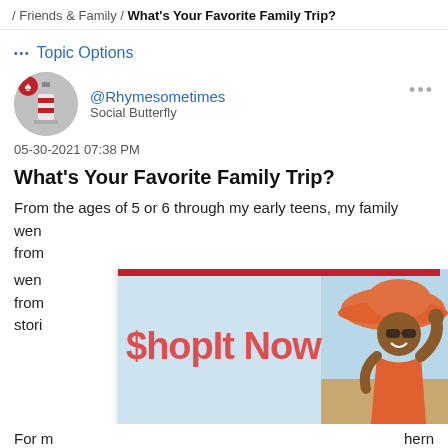/ Friends & Family / What's Your Favorite Family Trip?
••• Topic Options
[Figure (photo): User avatar: lighthouse-shaped figure with red and white stripes, circular gray background, red badge with spade icon at top left]
@Rhymesometimes
Social Butterfly
05-30-2021 07:38 PM
What's Your Favorite Family Trip?
From the ages of 5 or 6 through my early teens, my family went ... from ... stories ... fun!
[Figure (photo): Advertisement overlay: '$hopIt Now' text in red on light blue background, with photo of smiling woman in orange swimsuit and large orange hat with sunglasses at the beach]
For m ... hern Utak ... d